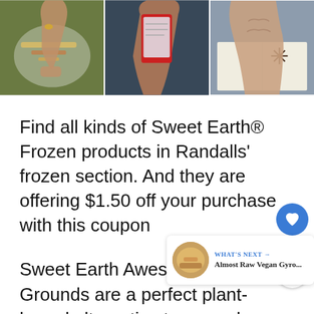[Figure (photo): Three-panel photo strip showing hands: left panel shows hand near food/spices on a plate, middle panel shows hand holding a red smartphone, right panel shows aged hand flipping through a book with star anise visible.]
Find all kinds of Sweet Earth® Frozen products in Randalls' frozen section. And they are offering $1.50 off your purchase with this coupon
Sweet Earth Awesome Grounds are a perfect plant-based alternative to ground meat. Made with textu... pea protein and vegetable extracts